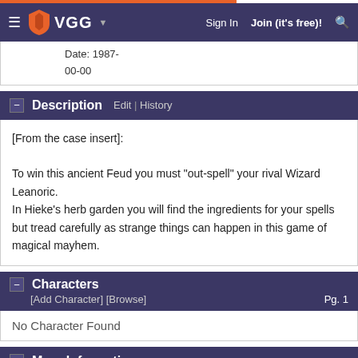VGG | Sign In | Join (it's free)!
Date: 1987-
00-00
Description  Edit | History
[From the case insert]:

To win this ancient Feud you must "out-spell" your rival Wizard Leanoric.
In Hieke's herb garden you will find the ingredients for your spells but tread carefully as strange things can happen in this game of magical mayhem.
Characters  [Add Character] [Browse]  Pg. 1
No Character Found
More Information  Edit | History
This page does not exist. You can edit this page to create it.
Marketplace  eBay  Recent | Ending | Fixed Price | Complete